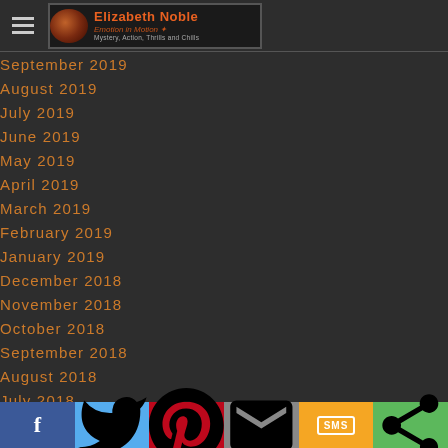Elizabeth Noble — Emotion in Motion
September 2019
August 2019
July 2019
June 2019
May 2019
April 2019
March 2019
February 2019
January 2019
December 2018
November 2018
October 2018
September 2018
August 2018
July 2018